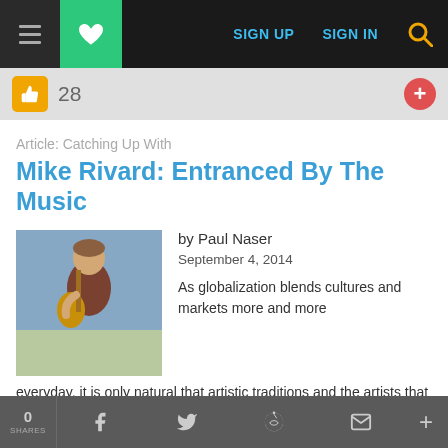SIGN UP  SIGN IN
28
Article: Catching Up With
Mike Rivard: Entranced By The Music
by Paul Naser
September 4, 2014
[Figure (photo): Photo of Mike Rivard holding a stringed instrument outdoors]
As globalization blends cultures and markets more and more everyday, it is only natural that artistic traditions and the artists that study them do the same. Mike Rivard is a leader in this regard, pioneering some of
0 SHARES  f  t  reddit  mail  +